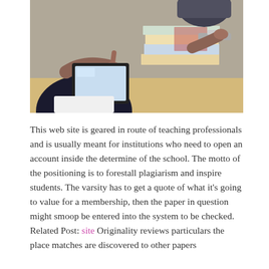[Figure (photo): Two people at a table; one is tapping a tablet device with their finger, the other is holding what appears to be scissors near a stack of books and notebooks.]
This web site is geared in route of teaching professionals and is usually meant for institutions who need to open an account inside the determine of the school. The motto of the positioning is to forestall plagiarism and inspire students. The varsity has to get a quote of what it's going to value for a membership, then the paper in question might smoop be entered into the system to be checked. Related Post: site Originality reviews particulars the place matches are discovered to other papers